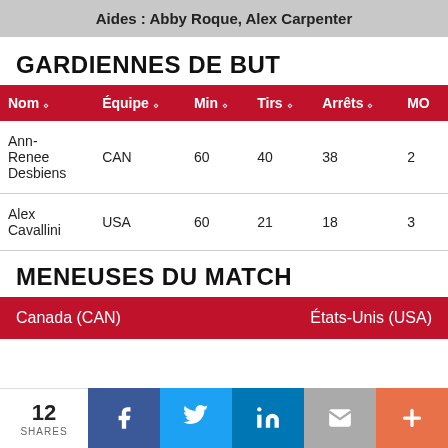Aides : Abby Roque, Alex Carpenter
GARDIENNES DE BUT
| Nom | Équipe | Min | Tirs | Arrêts | MO |
| --- | --- | --- | --- | --- | --- |
| Ann-Renee Desbiens | CAN | 60 | 40 | 38 | 2 |
| Alex Cavallini | USA | 60 | 21 | 18 | 3 |
MENEUSES DU MATCH
| Canada (CAN) | États-Unis (USA) |
| --- | --- |